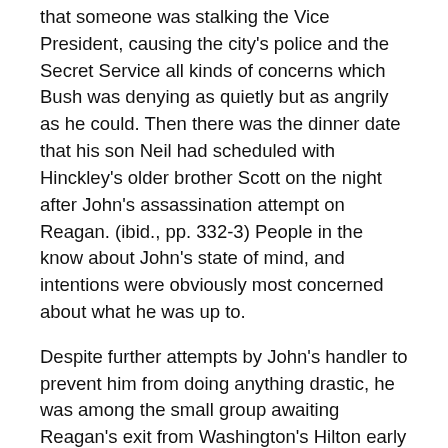that someone was stalking the Vice President, causing the city's police and the Secret Service all kinds of concerns which Bush was denying as quietly but as angrily as he could. Then there was the dinner date that his son Neil had scheduled with Hinckley's older brother Scott on the night after John's assassination attempt on Reagan. (ibid., pp. 332-3) People in the know about John's state of mind, and intentions were obviously most concerned about what he was up to.
Despite further attempts by John's handler to prevent him from doing anything drastic, he was among the small group awaiting Reagan's exit from Washington's Hilton early in the afternoon of March 30, 1981, and then started firing his .22 caliber pistol, armed with “devastator” bullets, at the rather loosely protected President, the last of which ricocheted off the limosine's fender, and deeply penetrated